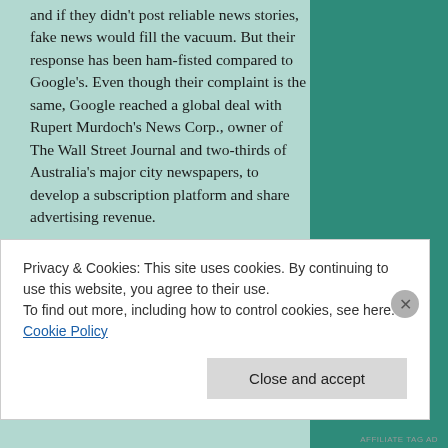and if they didn't post reliable news stories, fake news would fill the vacuum. But their response has been ham-fisted compared to Google's. Even though their complaint is the same, Google reached a global deal with Rupert Murdoch's News Corp., owner of The Wall Street Journal and two-thirds of Australia's major city newspapers, to develop a subscription platform and share advertising revenue.
The difference in approach mirrors the culture of the two social media titans. When Mark Zuckerberg said of
Privacy & Cookies: This site uses cookies. By continuing to use this website, you agree to their use.
To find out more, including how to control cookies, see here: Cookie Policy
Close and accept